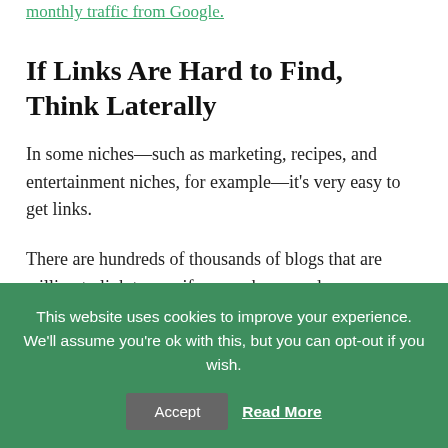monthly traffic from Google.
If Links Are Hard to Find, Think Laterally
In some niches—such as marketing, recipes, and entertainment niches, for example—it's very easy to get links.
There are hundreds of thousands of blogs that are willing to link to you if you make a good
This website uses cookies to improve your experience. We'll assume you're ok with this, but you can opt-out if you wish.
Accept  Read More